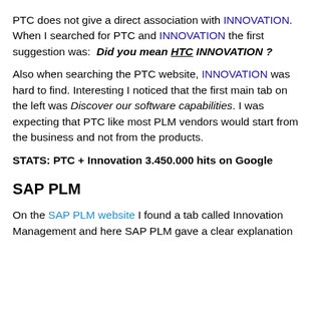PTC does not give a direct association with INNOVATION. When I searched for PTC and INNOVATION the first suggestion was:  Did you mean HTC INNOVATION ?
Also when searching the PTC website, INNOVATION was hard to find. Interesting I noticed that the first main tab on the left was Discover our software capabilities. I was expecting that PTC like most PLM vendors would start from the business and not from the products.
STATS: PTC + Innovation 3.450.000 hits on Google
SAP PLM
On the SAP PLM website I found a tab called Innovation Management and here SAP PLM gave a clear explanation